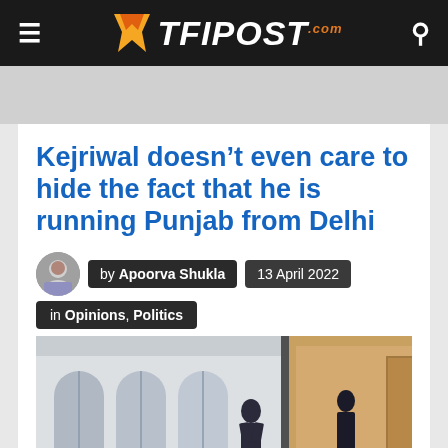TFIPOST.com
Kejriwal doesn’t even care to hide the fact that he is running Punjab from Delhi
by Apoorva Shukla  13 April 2022
in Opinions, Politics
[Figure (photo): Photograph showing a person walking inside a building with arched windows in the background]